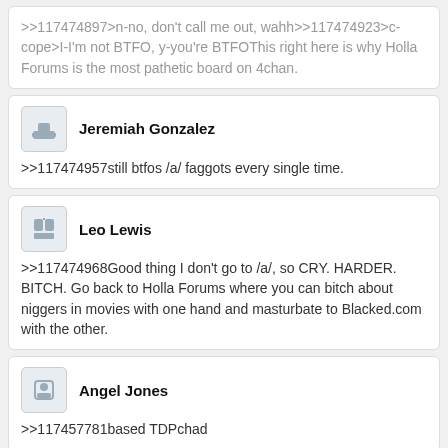>>117474897>n-no, don't call me out, wahh>>117474923>c-cope>I-I'm not BTFO, y-you're BTFOThis right here is why Holla Forums is the most pathetic board on 4chan.
Jeremiah Gonzalez
>>117474957still btfos /a/ faggots every single time.
Leo Lewis
>>117474968Good thing I don't go to /a/, so CRY. HARDER. BITCH. Go back to Holla Forums where you can bitch about niggers in movies with one hand and masturbate to Blacked.com with the other.
Angel Jones
>>117457781based TDPchad